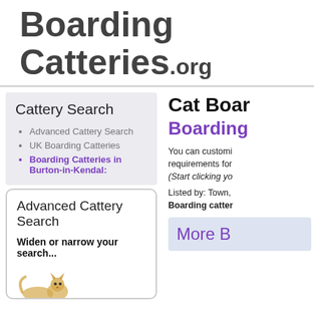BoardingCatteries.org
Cattery Search
Advanced Cattery Search
UK Boarding Catteries
Boarding Catteries in Burton-in-Kendal:
Cat Boar
Boarding
You can customi... requirements for... (Start clicking yo...
Listed by: Town, Boarding catter
Advanced Cattery Search
Widen or narrow your search...
[Figure (illustration): Cat illustration at bottom left]
More B